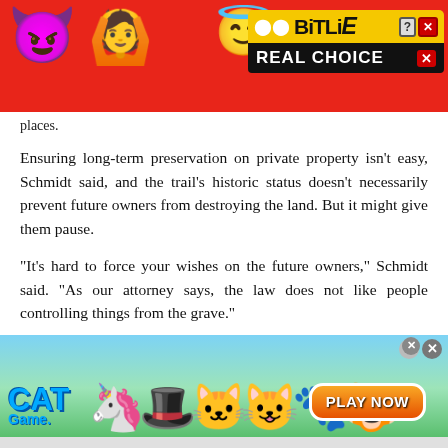[Figure (screenshot): BitLife mobile game advertisement banner with red background, devil emoji, person with arms raised emoji, angel emoji, sperm logo, 'BitLife' in yellow/black text, and 'REAL CHOICE' in white text on black.]
places.
Ensuring long-term preservation on private property isn't easy, Schmidt said, and the trail's historic status doesn't necessarily prevent future owners from destroying the land. But it might give them pause.
“It’s hard to force your wishes on the future owners,” Schmidt said. “As our attorney says, the law does not like people controlling things from the grave.”
[Figure (screenshot): Cat Game mobile game advertisement banner with sky/grass background, cartoon cat characters, 'CAT Game.' logo in blue, and orange 'PLAY NOW' button.]